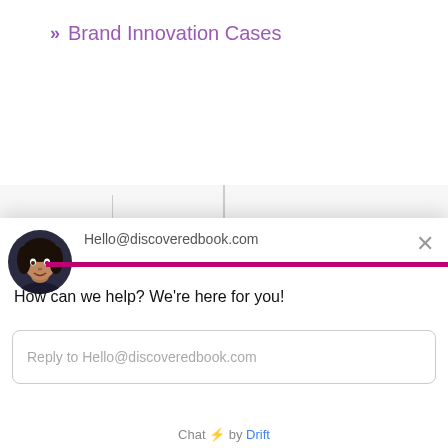» Brand Innovation Cases
MISC.
» Introduction
[Figure (screenshot): Chat widget overlay showing avatar of a woman, magenta bar, email Hello@discoveredbook.com, close button, help text, and reply input field. Powered by Drift.]
Hello@discoveredbook.com
How can we help? We're here for you!
Reply to Hello@discoveredbook.com
Chat ⚡ by Drift